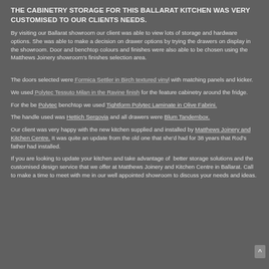THE CABINETRY STORAGE FOR THIS BALLARAT KITCHEN WAS VERY CUSTOMISED TO OUR CLIENTS NEEDS.
By visiting our Ballarat showroom our client was able to view lots of storage and hardware options. She was able to make a decision on drawer options by trying the drawers on display in the showroom. Door and benchtop colours and finishes were also able to be chosen using the Matthews Joinery showroom's finishes selection area.
The doors selected were Formica Settler in Birch textured vinyl with matching panels and kicker.
We used Polytec Tessuto Milan in the Ravine finish for the feature cabinetry around the fridge.
For the be Polytec benchtop we used Tightform Polytec Laminate in Olive Fabrini.
The handle used was Hettich Sergovia and all drawers were Blum Tandembox.
Our client was very happy with the new kitchen supplied and installed by Matthews Joinery and Kitchen Centre. It was quite an update from the old one that she'd had for 38 years that Rod's father had installed.
If you are looking to update your kitchen and take advantage of better storage solutions and the customised design service that we offer at Matthews Joinery and Kitchen Centre in Ballarat. Call to make a time to meet with me in our well appointed showroom to discuss your needs and ideas.